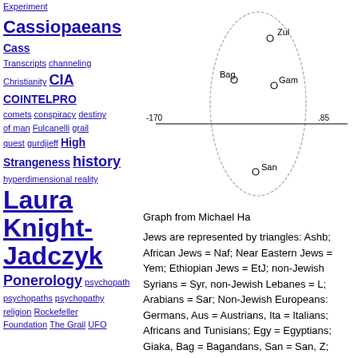Experiment Cassiopaeans Cass Transcripts channeling Christianity CIA COINTELPRO comets conspiracy destiny of man Fulcanelli grail quest gurdjieff High Strangeness history hyperdimensional reality Laura Knight-Jadczyk Ponerology psychopath psychopaths psychopathy religion Rockefeller Foundation The Grail UFO
[Figure (scatter-plot): Scatter plot showing population genetics data with an ellipse. Points labeled: Zul, Bag, Gam, San. Axis markings at -170 and .85.]
Graph from Michael Ha
Jews are represented by triangles: Ashb; African Jews = Naf; Near Eastern Jews = Yem; Ethiopian Jews = EtJ; non-Jewish Syrians = Syr, non-Jewish Lebanes = L; Arabians = Sar; Non-Jewish Europeans: Germans, Aus = Austrians, Ita = Italians; Africans and Tunisians; Egy = Egyptians; Giaka, Bag = Bagandans, San = San, Z; Lemba from south Africa.